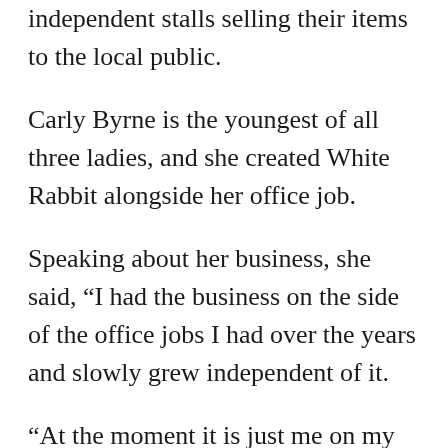independent stalls selling their items to the local public.
Carly Byrne is the youngest of all three ladies, and she created White Rabbit alongside her office job.
Speaking about her business, she said, “I had the business on the side of the office jobs I had over the years and slowly grew independent of it.
“At the moment it is just me on my own but I am looking for a seamstress to help out with larger orders.”